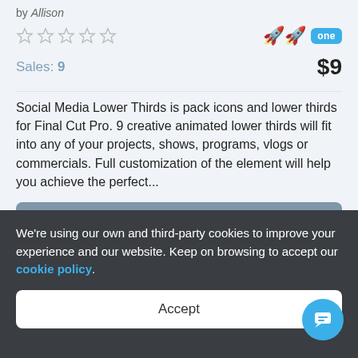by Allison
[Figure (other): Five empty star rating icons, badges with two rocket emojis and an 'one' blue badge]
Sales: 9   $9
Social Media Lower Thirds is pack icons and lower thirds for Final Cut Pro. 9 creative animated lower thirds will fit into any of your projects, shows, programs, vlogs or commercials. Full customization of the element will help you achieve the perfect...
Details
We're using our own and third-party cookies to improve your experience and our website. Keep on browsing to accept our cookie policy.
Accept